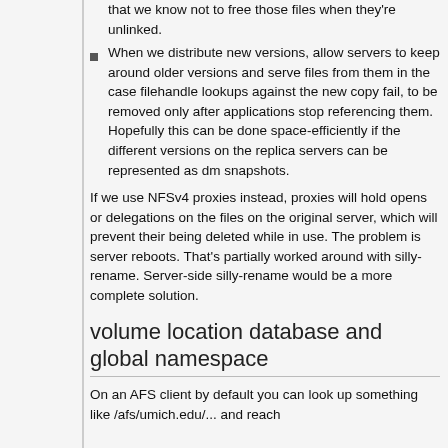that we know not to free those files when they're unlinked.
When we distribute new versions, allow servers to keep around older versions and serve files from them in the case filehandle lookups against the new copy fail, to be removed only after applications stop referencing them. Hopefully this can be done space-efficiently if the different versions on the replica servers can be represented as dm snapshots.
If we use NFSv4 proxies instead, proxies will hold opens or delegations on the files on the original server, which will prevent their being deleted while in use. The problem is server reboots. That's partially worked around with silly-rename. Server-side silly-rename would be a more complete solution.
volume location database and global namespace
On an AFS client by default you can look up something like /afs/umich.edu/... and reach